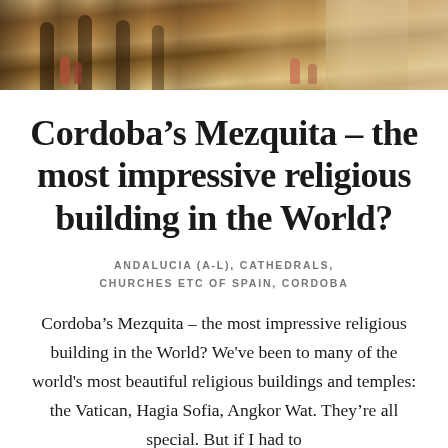[Figure (photo): Interior photograph of Cordoba's Mezquita showing arched columns and visitors walking through the ornate space]
Cordoba’s Mezquita – the most impressive religious building in the World?
ANDALUCIA (A-L), CATHEDRALS, CHURCHES ETC OF SPAIN, CORDOBA
Cordoba’s Mezquita – the most impressive religious building in the World? We’ve been to many of the world’s most beautiful religious buildings and temples: the Vatican, Hagia Sofia, Angkor Wat. They’re all special. But if I had to